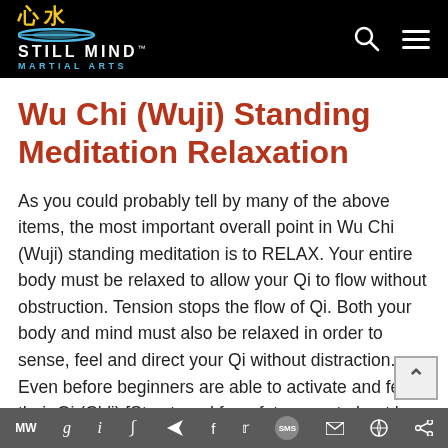Still Mind Martial Arts — Website header with logo and navigation icons
Wu Chi (Wuji) Standing Meditation Relaxation
As you could probably tell by many of the above items, the most important overall point in Wu Chi (Wuji) standing meditation is to RELAX. Your entire body must be relaxed to allow your Qi to flow without obstruction. Tension stops the flow of Qi. Both your body and mind must also be relaxed in order to sense, feel and direct your Qi without distraction. Even before beginners are able to activate and feel their Qi (Ch'i) [Stay tuned for a future post about how to achieve that.] the deep
MW g i p (send) f t SMS (mail) (link) (share)